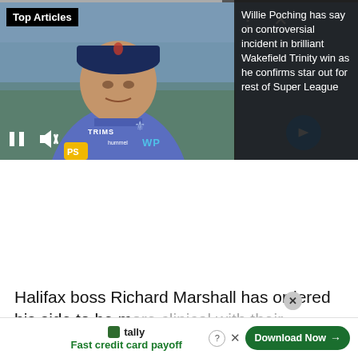[Figure (screenshot): Video player showing a man in a blue rugby shirt with cap being interviewed, with 'Top Articles' label, video controls (pause, mute), a yellow PS microphone, WP text visible, and a blue arrow button. Progress bar at top.]
Willie Poching has say on controversial incident in brilliant Wakefield Trinity win as he confirms star out for rest of Super League
Halifax boss Richard Marshall has ordered his side to be more clinical with their opportunities when they take o
[Figure (screenshot): Advertisement banner: Tally app logo, 'Fast credit card payoff' tagline, 'Download Now' green button, help and close icons.]